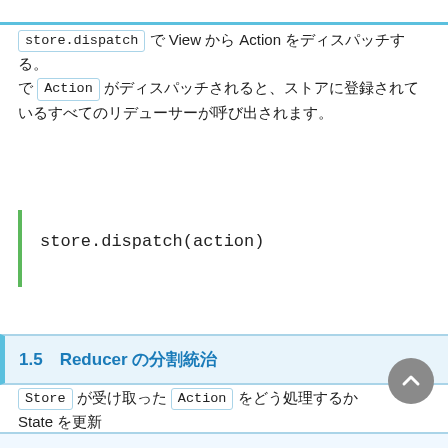store.dispatch で View から Action をディスパッチする。 Action がディスパッチされると、ストアに登録されているすべてのリデューサーが呼び出されます。
1.5　Reducerの分割統治
Store が受け取った Action をどう処理するか State を更新 View へ通知するのかを State に応じて Reducer が担当します。